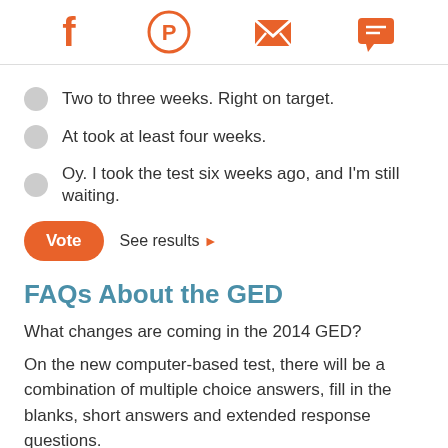Social share icons: Facebook, Pinterest, Email, Message
Two to three weeks. Right on target.
At took at least four weeks.
Oy. I took the test six weeks ago, and I'm still waiting.
Vote  See results
FAQs About the GED
What changes are coming in the 2014 GED?
On the new computer-based test, there will be a combination of multiple choice answers, fill in the blanks, short answers and extended response questions.
How is the new GED graded?
Aside from the essay, the new test will be graded entirely